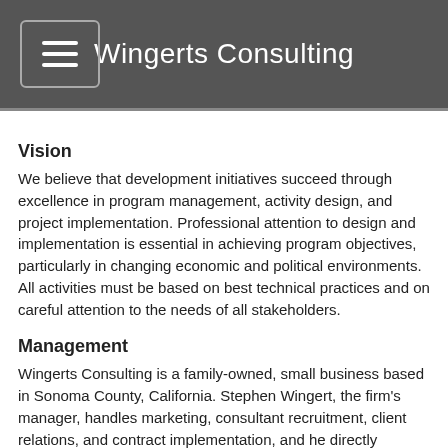Wingerts Consulting
Vision
We believe that development initiatives succeed through excellence in program management, activity design, and project implementation.  Professional attention to design and implementation is essential in achieving program objectives, particularly in changing economic and political environments.  All activities must be based on best technical practices and on careful attention to the needs of all stakeholders.
Management
Wingerts Consulting is a family-owned, small business based in Sonoma County, California.  Stephen Wingert, the firm's manager, handles marketing, consultant recruitment, client relations, and contract implementation, and he directly provides consulting services.  Marilee Wingert coordinates logistics, payments to consultants, and general office management.  Stephen Wingert has an MBA and a Masters in Agricultural Economics from Stanford University.  He is a retired USAID Senior Foreign Service Officer, having served as Mission